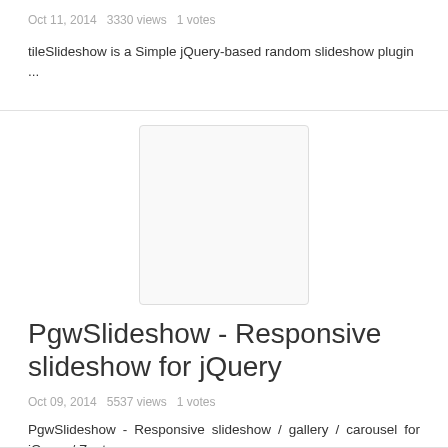Oct 11, 2014   3330 views   1 votes
tileSlideshow is a Simple jQuery-based random slideshow plugin ...
[Figure (illustration): Blank/placeholder thumbnail image box with light grey border and white fill]
PgwSlideshow - Responsive slideshow for jQuery
Oct 09, 2014   5537 views   1 votes
PgwSlideshow - Responsive slideshow / gallery / carousel for jQuery / Zepto ...